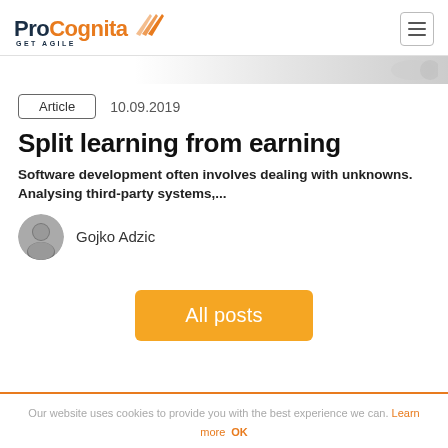[Figure (logo): ProCognita GET AGILE logo with orange flame/chevron icon]
Article   10.09.2019
Split learning from earning
Software development often involves dealing with unknowns. Analysing third-party systems,...
Gojko Adzic
All posts
Our website uses cookies to provide you with the best experience we can. Learn more   OK